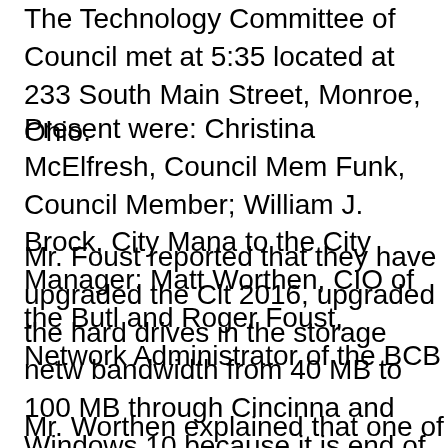The Technology Committee of Council met at 5:35 located at 233 South Main Street, Monroe, Ohio.
Present were: Christina McElfresh, Council Mem Funk, Council Member; William J. Brock, City Mana to the City Manager; Matt Worthen, CIO of the Butl and Roger Foust, Network Administrator of the BCB
Mr. Foust reported that they have upgraded the Cit 2016, upgraded the hard drives in the storage netw bandwidth from 40 MB to 100 MB through Cincinna and Windows 10 because it is end of life cycle next holding off migrating the Fire Department to the VM the new Public Works building and Lending Library
Mr. Worthen explained that one of the initiatives we of the data systems that the City has and putting th decision makers to one dashboard. We have som